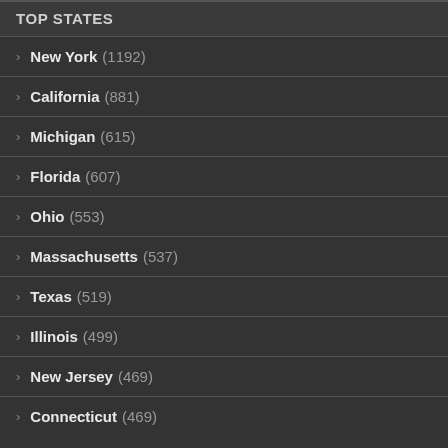TOP STATES
New York (1192)
California (881)
Michigan (615)
Florida (607)
Ohio (553)
Massachusetts (537)
Texas (519)
Illinois (499)
New Jersey (469)
Connecticut (469)
© © 2006 – 2022 HomelessShelterDirectory.org All rights reserved